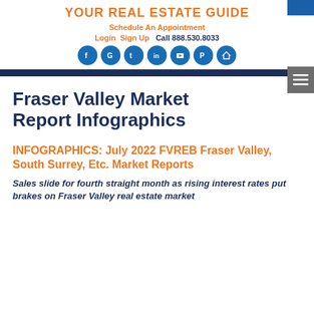YOUR REAL ESTATE GUIDE
Schedule An Appointment
Login  Sign Up   Call 888.530.8033
[Figure (other): Social media icons: Facebook, Google, Twitter, LinkedIn, YouTube, Pinterest, House/Home icon — all in blue circles]
Fraser Valley Market Report Infographics
INFOGRAPHICS: July 2022 FVREB Fraser Valley, South Surrey, Etc. Market Reports
Sales slide for fourth straight month as rising interest rates put brakes on Fraser Valley real estate market